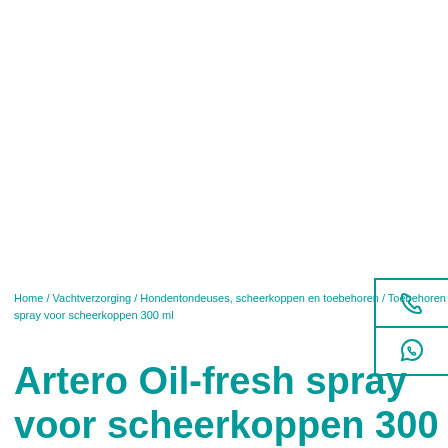Home / Vachtverzorging / Hondentondeuses, scheerkoppen en toebehoren / Toebehoren / Artero Oil-fresh spray voor scheerkoppen 300 ml
[Figure (other): Contact box with phone icon and WhatsApp icon, teal border]
Artero Oil-fresh spray voor scheerkoppen 300 ml